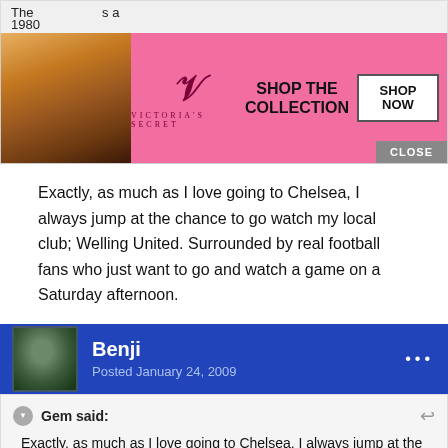[Figure (other): Victoria's Secret advertisement banner at top with model, VS logo, SHOP THE COLLECTION text and SHOP NOW button, with CLOSE button]
The ... s a 1980...
Exactly, as much as I love going to Chelsea, I always jump at the chance to go watch my local club; Welling United. Surrounded by real football fans who just want to go and watch a game on a Saturday afternoon.
Benji
Posted January 24, 2009
Gem said:
Exactly, as much as I love going to Chelsea, I always jump at the chance to go watch my local club; Welling United. Surrounded by real football fans who just want to... watc...
[Figure (other): Victoria's Secret advertisement banner at bottom with model, VS logo, SHOP THE COLLECTION text and SHOP NOW button, with CLOSE button]